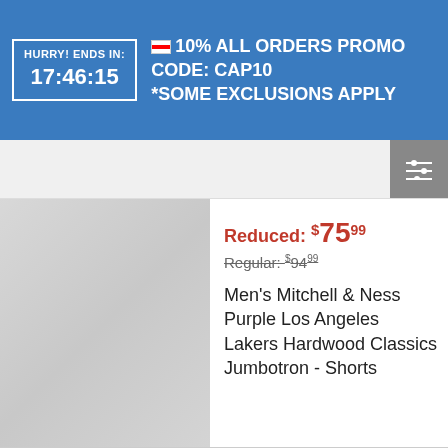HURRY! ENDS IN: 17:46:15 — 10% ALL ORDERS PROMO CODE: CAP10 *SOME EXCLUSIONS APPLY
[Figure (screenshot): Filter/sort icon with sliders on grey background]
[Figure (photo): Blurred product thumbnail image of shorts]
Reduced: $75.99
Regular: $94.99
Men's Mitchell & Ness Purple Los Angeles Lakers Hardwood Classics Jumbotron - Shorts